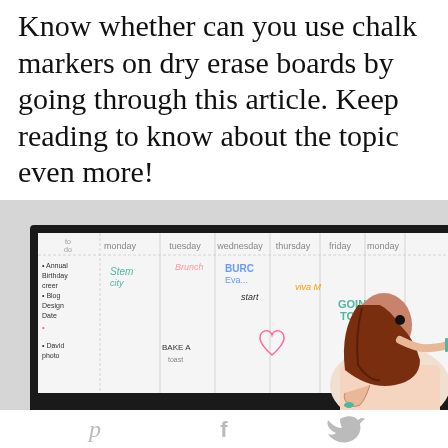Know whether can you use chalk markers on dry erase boards by going through this article. Keep reading to know about the topic even more!
[Figure (photo): A woman with red hair writing on a large white dry-erase board mounted on a wall. The board is framed in black and shows a weekly calendar with colorful chalk marker writing.]
[Figure (infographic): Social sharing icons: Pinterest (P), Facebook (f), Twitter (bird icon) displayed in a horizontal row at the bottom of the page in light gray.]